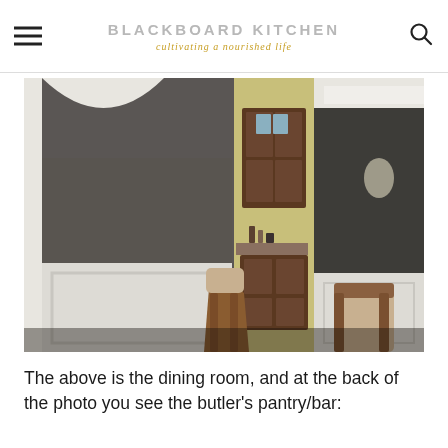BLACKBOARD KITCHEN — cultivating a nourished life
[Figure (photo): Interior photo of a dining room with dark olive/charcoal painted walls, white wainscoting panels, and a butler's pantry/bar area visible at the back with dark wood cabinets, and dining chairs in the foreground.]
The above is the dining room, and at the back of the photo you see the butler's pantry/bar: